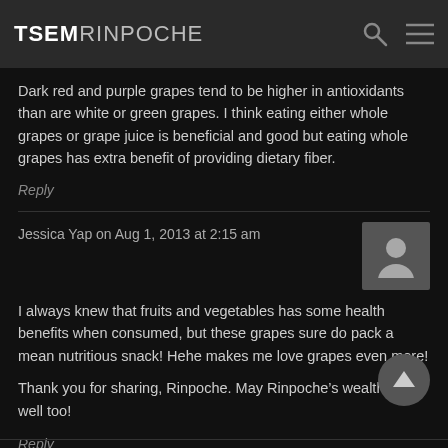TSEM RINPOCHE
Dark red and purple grapes tend to be higher in antioxidants than are white or green grapes. I think eating either whole grapes or grape juice is beneficial and good but eating whole grapes has extra benefit of providing dietary fiber.
Reply
Jessica Yap on Aug 1, 2013 at 2:15 am
[Figure (photo): Default user avatar placeholder - silhouette of a person on grey background]
I always knew that fruits and vegetables has some health benefits when consumed, but these grapes sure do pack a mean nutritious snack! Hehe makes me love grapes even more!
Thank you for sharing, Rinpoche. May Rinpoche’s wealth be well too!
Reply